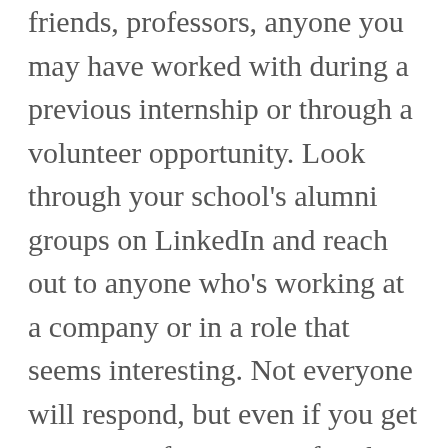friends, professors, anyone you may have worked with during a previous internship or through a volunteer opportunity. Look through your school's alumni groups on LinkedIn and reach out to anyone who's working at a company or in a role that seems interesting. Not everyone will respond, but even if you get a response from 1 out of 5, that's a start! And don't forget - every friend you made in school is part of your network! Always keep your friends posted or you're looking for, they may be som[chevron]ur strongest ties down the road and probably [cut off]